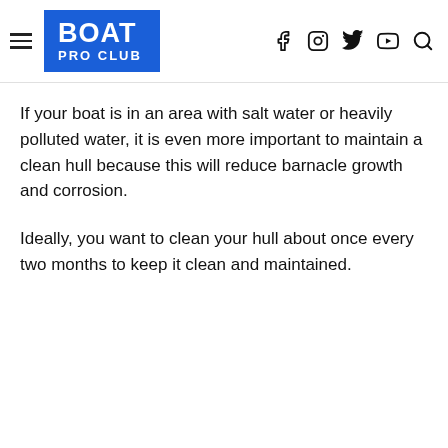BOAT PRO CLUB
If your boat is in an area with salt water or heavily polluted water, it is even more important to maintain a clean hull because this will reduce barnacle growth and corrosion.
Ideally, you want to clean your hull about once every two months to keep it clean and maintained.